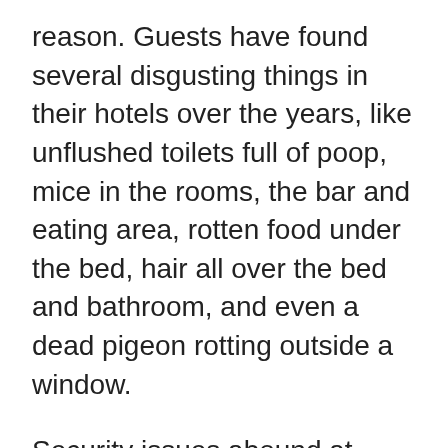reason. Guests have found several disgusting things in their hotels over the years, like unflushed toilets full of poop, mice in the rooms, the bar and eating area, rotten food under the bed, hair all over the bed and bathroom, and even a dead pigeon rotting outside a window.
Security issues abound at Britannia’s 61 hotels, too. One guest claimed the latch on their room window was broken and held in place only by a teaspoon. Another had a door with no functioning lock. Instead, it was held shut by two hairbands. What’s more is that guests’